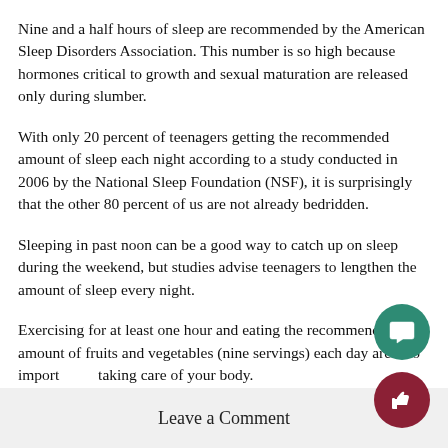Nine and a half hours of sleep are recommended by the American Sleep Disorders Association. This number is so high because hormones critical to growth and sexual maturation are released only during slumber.
With only 20 percent of teenagers getting the recommended amount of sleep each night according to a study conducted in 2006 by the National Sleep Foundation (NSF), it is surprisingly that the other 80 percent of us are not already bedridden.
Sleeping in past noon can be a good way to catch up on sleep during the weekend, but studies advise teenagers to lengthen the amount of sleep every night.
Exercising for at least one hour and eating the recommended amount of fruits and vegetables (nine servings) each day are also important to taking care of your body.
Leave a Comment